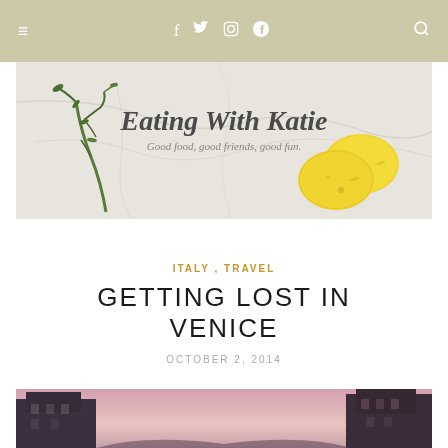≡  f  Twitter  Instagram  Pinterest  Search
[Figure (photo): Eating With Katie blog header image with rosemary herb, two lemons on marble surface. Text: 'Eating With Katie — Good food, good friends, good fun.']
ITALY , TRAVEL
GETTING LOST IN VENICE
OCTOBER 2, 2014
[Figure (photo): Narrow Venice street/canal alley at dusk with pink sky between dark buildings]